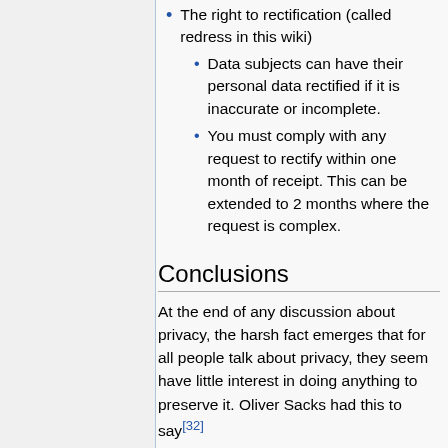The right to rectification (called redress in this wiki)
Data subjects can have their personal data rectified if it is inaccurate or incomplete.
You must comply with any request to rectify within one month of receipt. This can be extended to 2 months where the request is complex.
Conclusions
At the end of any discussion about privacy, the harsh fact emerges that for all people talk about privacy, they seem have little interest in doing anything to preserve it. Oliver Sacks had this to say[32]
Everything is public now...